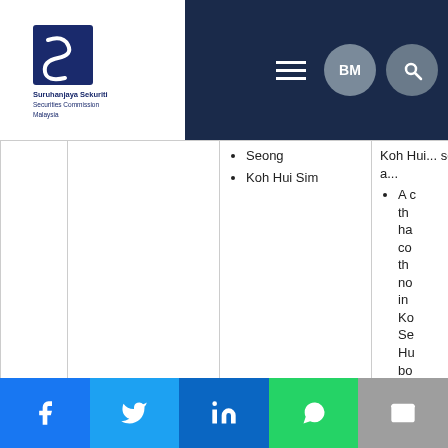[Figure (logo): Suruhanjaya Sekuriti Securities Commission Malaysia logo]
|  |  | Seong
Koh Hui Sim | Koh Hui... seeking, a...
A c... th... ha... co... th... no... in... Ko... Se... Hu... bo... th... di... In... Be... sh... 9... 30... |
[Figure (infographic): Social sharing bar with Facebook, Twitter, LinkedIn, WhatsApp, and Email buttons]